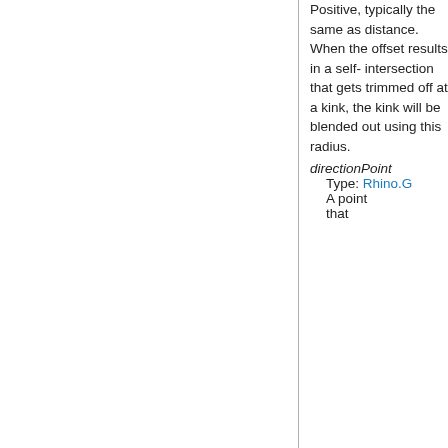Positive, typically the same as distance. When the offset results in a self-intersection that gets trimmed off at a kink, the kink will be blended out using this radius.
directionPoint
Type: Rhino.G...
A point that...